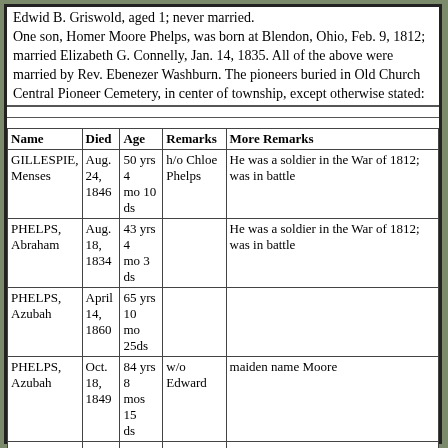Edwid B. Griswold, aged 1; never married. One son, Homer Moore Phelps, was born at Blendon, Ohio, Feb. 9, 1812; married Elizabeth G. Connelly, Jan. 14, 1835. All of the above were married by Rev. Ebenezer Washburn. The pioneers buried in Old Church Central Pioneer Cemetery, in center of township, except otherwise stated:
| Name | Died | Age | Remarks | More Remarks |
| --- | --- | --- | --- | --- |
| GILLESPIE, Menses | Aug. 24, 1846 | 50 yrs 4 mo 10 ds | h/o Chloe Phelps | He was a soldier in the War of 1812; was in battle |
| PHELPS, Abraham | Aug. 18, 1834 | 43 yrs 4 mo 3 ds |  | He was a soldier in the War of 1812; was in battle |
| PHELPS, Azubah | April 14, 1860 | 65 yrs 10 mo 25ds |  |  |
| PHELPS, Azubah | Oct. 18, 1849 | 84 yrs 8 mos 15 ds | w/o Edward | maiden name Moore |
| PHELPS, Chloee\ | Oct. 9, 1865 | 66 yrs 4 mos 10ds | w/o Menses Gillespie |  |
| PHELPS, Edward, Sr. | Aug. 10, 1840 | 81 yrs 11 mos 14 ds |  | He served in 8th Co., 1st Reg. Conn. Line in 1877 Revolutionary War |